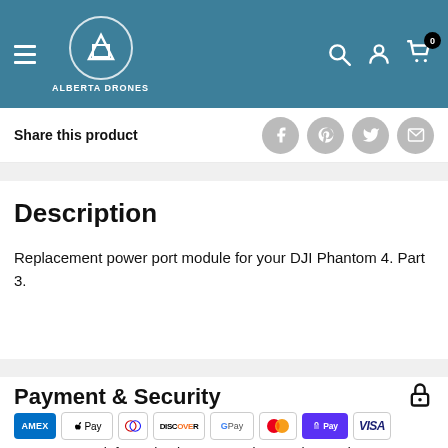Alberta Drones
Share this product
Description
Replacement power port module for your DJI Phantom 4. Part 3.
Payment & Security
[Figure (logo): Payment method logos: AMEX, Apple Pay, Diners Club, Discover, Google Pay, Mastercard, Shop Pay, Visa]
Your payment information is processed securely. We do not